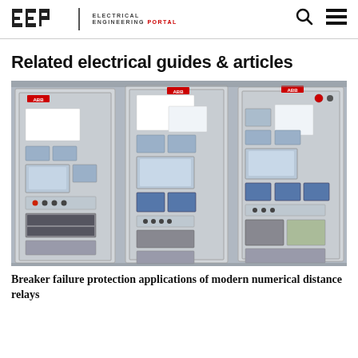EEP | ELECTRICAL ENGINEERING PORTAL
Related electrical guides & articles
[Figure (photo): Three large industrial relay/protection panels (ABB brand) side by side in a substation control room, each containing numerical distance relay units, display screens, control modules, and terminal blocks.]
Breaker failure protection applications of modern numerical distance relays